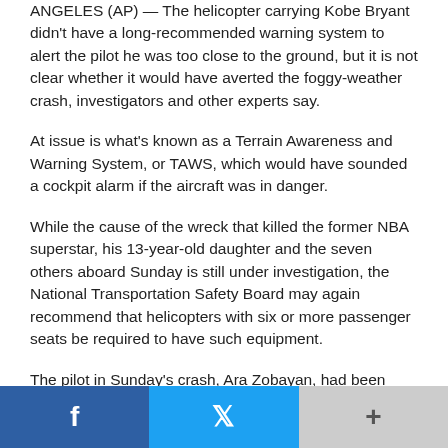ANGELES (AP) — The helicopter carrying Kobe Bryant didn't have a long-recommended warning system to alert the pilot he was too close to the ground, but it is not clear whether it would have averted the foggy-weather crash, investigators and other experts say.
At issue is what's known as a Terrain Awareness and Warning System, or TAWS, which would have sounded a cockpit alarm if the aircraft was in danger.
While the cause of the wreck that killed the former NBA superstar, his 13-year-old daughter and the seven others aboard Sunday is still under investigation, the National Transportation Safety Board may again recommend that helicopters with six or more passenger seats be required to have such equipment.
The pilot in Sunday's crash, Ara Zobayan, had been climbing out of the clouds when the chartered aircraft banked left and
[Figure (other): Social share bar with Facebook, Twitter, and More (+) buttons]